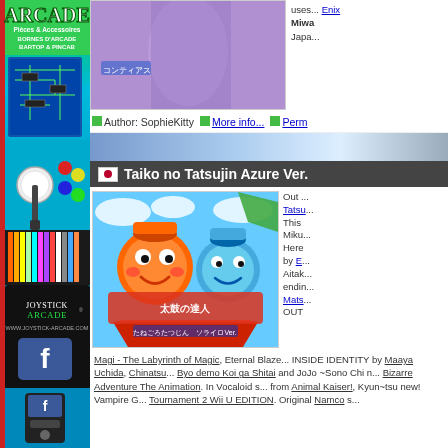[Figure (illustration): Joystick Arcade sidebar advertisement with logo, arcade components, joystick, Facebook icon and URL www.joystick-arcade.com]
[Figure (photo): Anime character in purple costume, partial image at top]
uses... Enix... Miwa... Japa...
Author: SophieKitty   More info...   Perm...
Taiko no Tatsujin Azure Ver.
[Figure (photo): Taiko no Tatsujin Azure Ver. game cover art showing cartoon drum characters on blue background with Japanese text]
Out ... Tatsu... This Miku... Here by E... Aitak... endin... Mats... OUT
Magi - The Labyrinth of Magic, Eternal Blaze... INSIDE IDENTITY by Maaya Uchida, Chinatsu... Byo demo Koi ga Shitai and JoJo ~Sono Chi... Bizarre Adventure The Animation. In Vocaloid s... from Animal Kaiser!, Kyun~tsu new! Vampire G... Tournament 2 Wii U EDITION. Original Namco s...